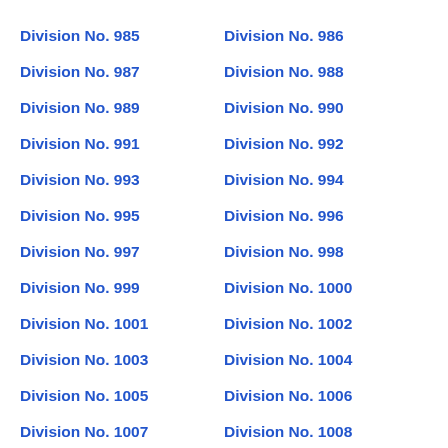Division No. 985
Division No. 986
Division No. 987
Division No. 988
Division No. 989
Division No. 990
Division No. 991
Division No. 992
Division No. 993
Division No. 994
Division No. 995
Division No. 996
Division No. 997
Division No. 998
Division No. 999
Division No. 1000
Division No. 1001
Division No. 1002
Division No. 1003
Division No. 1004
Division No. 1005
Division No. 1006
Division No. 1007
Division No. 1008
Division No. 1009
Division No. 1010
Division No. 1011
Division No. 1012